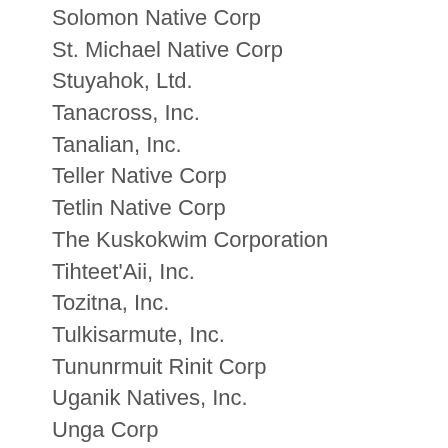Solomon Native Corp
St. Michael Native Corp
Stuyahok, Ltd.
Tanacross, Inc.
Tanalian, Inc.
Teller Native Corp
Tetlin Native Corp
The Kuskokwim Corporation
Tihteet'Aii, Inc.
Tozitna, Inc.
Tulkisarmute, Inc.
Tununrmuit Rinit Corp
Uganik Natives, Inc.
Unga Corp
Uyak, Inc.
Uzinki Village of Natives (partial)